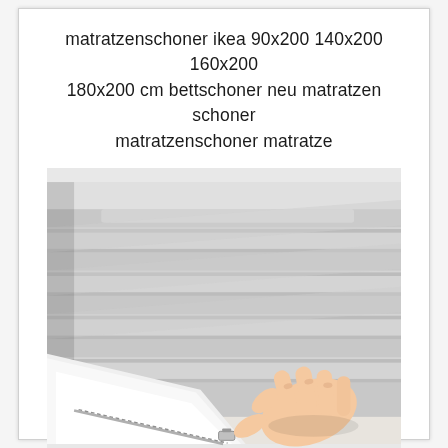matratzenschoner ikea 90x200 140x200 160x200 180x200 cm bettschoner neu matratzen schoner matratzenschoner matratze
[Figure (photo): Close-up photo of a mattress protector with a zipper being opened by a hand. The mattress protector is light grey/white with a quilted textile surface showing horizontal channels. A human hand is pulling the white zipper at the bottom corner, revealing the white inner lining of the protector.]